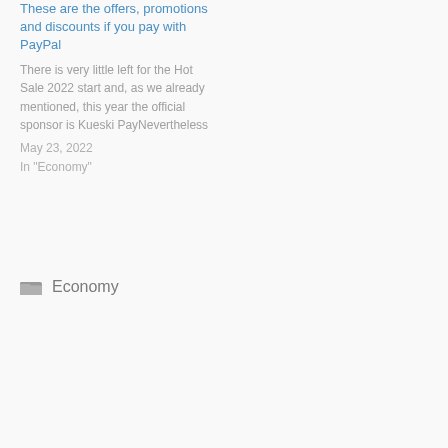These are the offers, promotions and discounts if you pay with PayPal
There is very little left for the Hot Sale 2022 start and, as we already mentioned, this year the official sponsor is Kueski PayNevertheless
May 23, 2022
In "Economy"
Economy